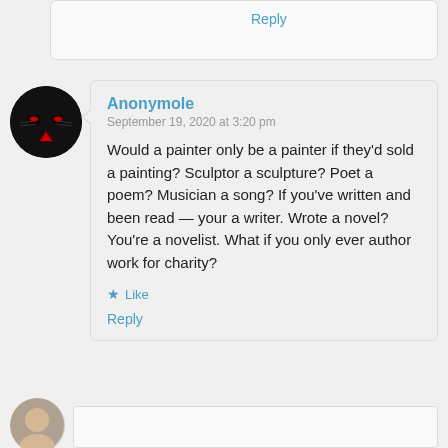Reply
Anonymole
September 19, 2020 at 3:20 pm
Would a painter only be a painter if they'd sold a painting? Sculptor a sculpture? Poet a poem? Musician a song? If you've written and been read — your a writer. Wrote a novel? You're a novelist. What if you only ever author work for charity?
Like
Reply